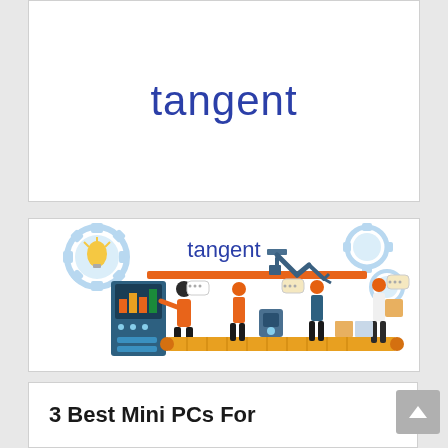[Figure (logo): Tangent company logo — the word 'tangent' in blue sans-serif font on white background]
[Figure (illustration): Manufacturing/industrial scene illustration with Tangent logo overlay. Shows workers in hard hats on an assembly line with robotic arm, conveyor belt, gears, light bulb, and a person operating a control panel. Blue, orange, and white color scheme.]
3 Best Mini PCs For